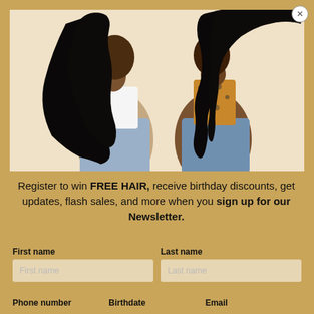[Figure (photo): Two Black women models with long black hair wearing jeans. Left model in white top showing wavy hair from the back. Right model in leopard print top showing straight hair fanned out, viewed from side/back. Beige/cream background.]
Register to win FREE HAIR, receive birthday discounts, get updates, flash sales, and more when you sign up for our Newsletter.
First name
Last name
Phone number
Birthdate
Email